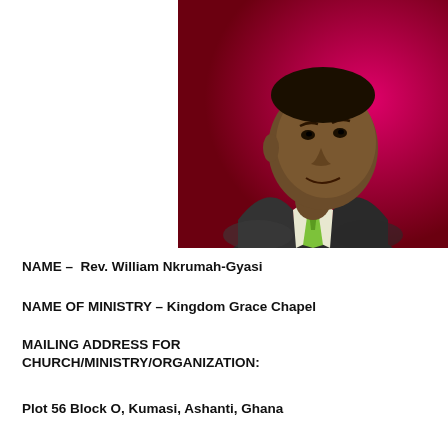[Figure (photo): Portrait photo of Rev. William Nkrumah-Gyasi, a man in a dark suit with a green tie, smiling, against a magenta/red background.]
NAME – Rev. William Nkrumah-Gyasi
NAME OF MINISTRY – Kingdom Grace Chapel
MAILING ADDRESS FOR CHURCH/MINISTRY/ORGANIZATION:
Plot 56 Block O, Kumasi, Ashanti, Ghana